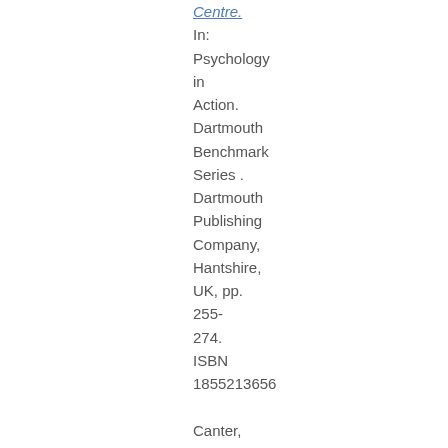Centre. In: Psychology in Action. Dartmouth Benchmark Series . Dartmouth Publishing Company, Hantshire, UK, pp. 255-274. ISBN 1855213656

Canter, David V. (1993)